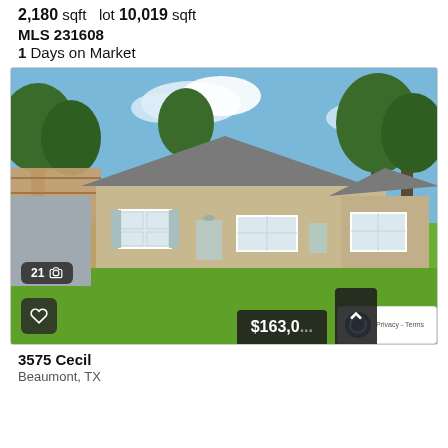2,180 sqft   lot 10,019 sqft
MLS 231608
1 Days on Market
[Figure (photo): Exterior photo of a single-story ranch-style house with tan/beige siding, white shutters, a large green lawn, wooden fence on the left, and trees in the background. Blue sky with light clouds.]
3575 Cecil
Beaumont, TX
$163,0...